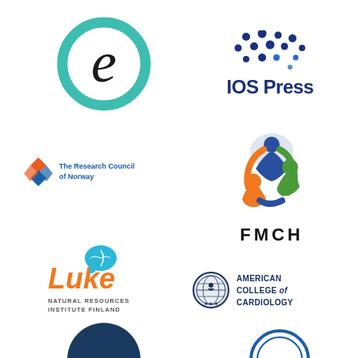[Figure (logo): Circular teal ring logo with italic lowercase 'e' inside]
[Figure (logo): IOS Press logo with blue dot pattern above text 'IOS Press']
[Figure (logo): The Research Council of Norway logo with orange/blue diamond icon and text]
[Figure (logo): FMCH logo with circular figures in blue, green, orange forming a circle, with 'FMCH' text below]
[Figure (logo): Luke Natural Resources Institute Finland logo with cyan leaf speech bubble, orange 'Luke' text, subtitle text below]
[Figure (logo): American College of Cardiology logo with globe seal icon and text 'AMERICAN COLLEGE of CARDIOLOGY']
[Figure (logo): Partial dark blue semicircle logo at bottom left, partially cut off]
[Figure (logo): Partial logo at bottom right, partially cut off]